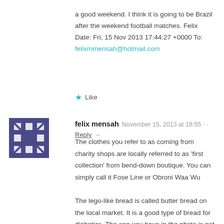a good weekend. I think it is going to be Brazil after the weekend football matches. Felix Date: Fri, 15 Nov 2013 17:44:27 +0000 To: felixmmensah@hotmail.com
★ Like
felix mensah  November 15, 2013 at 18:55 · Reply →
The clothes you refer to as coming from charity shops are locally referred to as 'first collection' from bend-down boutique. You can simply call it Fose Line or Obroni Waa Wu

The lego-like bread is called butter bread on the local market. It is a good type of bread for diabetics. The one you have in the photo is not particularly looking hygienic but African germs are kind, we reckon.😊

Thanks again and another brilliant write up.

I enjoy your posts and observations. Brilliant!!!

Have a good weekend.